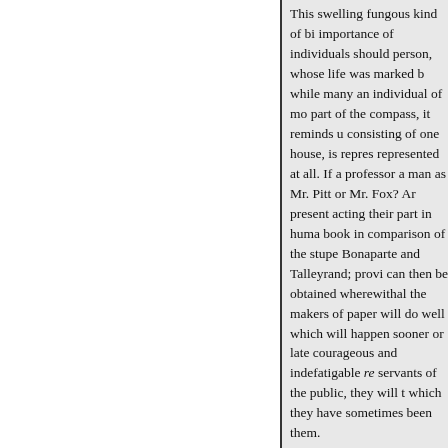This swelling fungous kind of bi importance of individuals should person, whose life was marked b while many an individual of mo part of the compass, it reminds u consisting of one house, is repres represented at all. If a professor a man as Mr. Pitt or Mr. Fox? Ar present acting their part in huma book in comparison of the stupe Bonaparte and Talleyrand; provi can then be obtained wherewithal the makers of paper will do well which will happen sooner or late courageous and indefatigable red servants of the public, they will t which they have sometimes been them.
« Previous